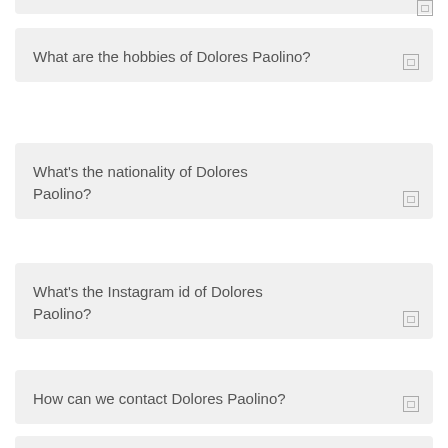What are the hobbies of Dolores Paolino?
What's the nationality of Dolores Paolino?
What's the Instagram id of Dolores Paolino?
How can we contact Dolores Paolino?